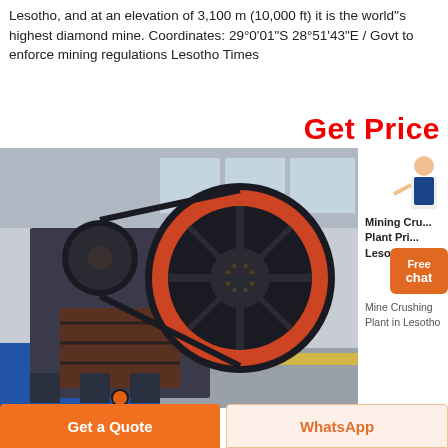Lesotho, and at an elevation of 3,100 m (10,000 ft) it is the world''s highest diamond mine. Coordinates: 29°0'01"S 28°51'43"E / Govt to enforce mining regulations Lesotho Times
Get Price
[Figure (photo): Industrial jaw crusher machine with large flywheel, dark grey and red/orange coloring, inside a factory/workshop setting]
Mining Crushing Plant Price in Lesotho
Free chat
Mine Crushing Plant in Lesotho
Get a Quote
WhatsApp